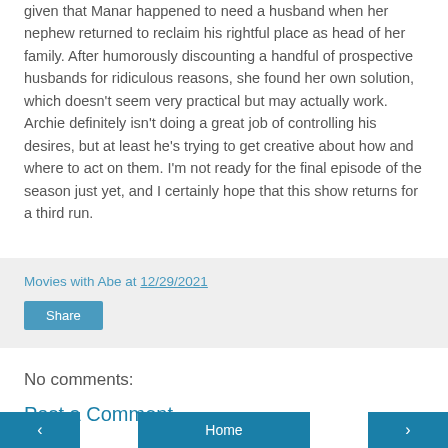given that Manar happened to need a husband when her nephew returned to reclaim his rightful place as head of her family. After humorously discounting a handful of prospective husbands for ridiculous reasons, she found her own solution, which doesn't seem very practical but may actually work. Archie definitely isn't doing a great job of controlling his desires, but at least he's trying to get creative about how and where to act on them. I'm not ready for the final episode of the season just yet, and I certainly hope that this show returns for a third run.
Movies with Abe at 12/29/2021
Share
No comments:
Post a Comment